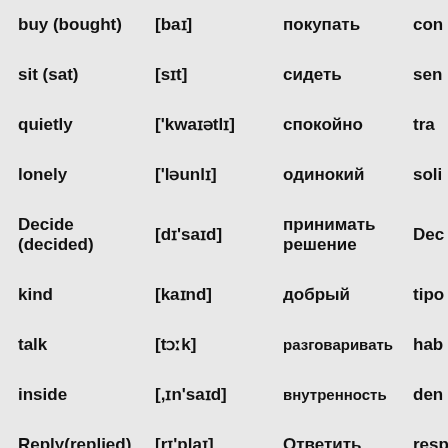| English | Transcription | Russian | Other |
| --- | --- | --- | --- |
| buy (bought) | [baɪ] | покупать | com |
| sit (sat) | [sɪt] | сидеть | sen |
| quietly | ['kwaɪətlɪ] | спокойно | tra |
| lonely | ['ləunlɪ] | одинокий | soli |
| Decide (decided) | [dɪ'saɪd] | принимать решение | Dec |
| kind | [kaɪnd] | добрый | tipo |
| talk | [tɔːk] | разговаривать | hab |
| inside | [,ɪn'saɪd] | внутренность | den |
| Reply(replied) | [rɪ'plaɪ] | Ответить | resp |